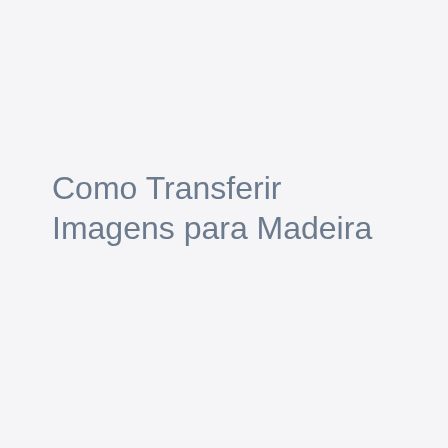Como Transferir Imagens para Madeira